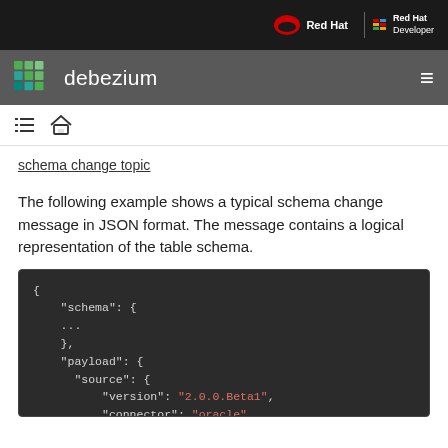Red Hat | Red Hat Developer
debezium
schema change topic
The following example shows a typical schema change message in JSON format. The message contains a logical representation of the table schema.
[Figure (screenshot): JSON code block showing a schema change message with fields: schema, payload, source, version: "2.0.0.Beta1", connector: "oracle"]